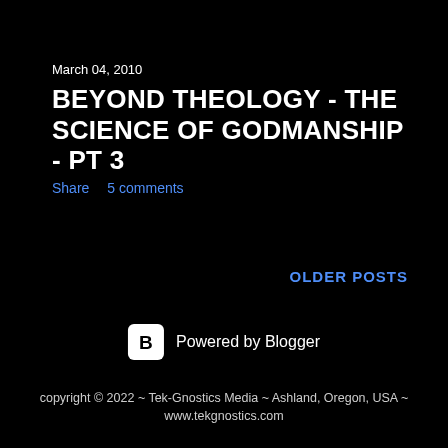March 04, 2010
BEYOND THEOLOGY - THE SCIENCE OF GODMANSHIP - PT 3
Share    5 comments
OLDER POSTS
[Figure (logo): Blogger logo icon - white B in rounded square]
Powered by Blogger
copyright © 2022 ~ Tek-Gnostics Media ~ Ashland, Oregon, USA ~
www.tekgnostics.com